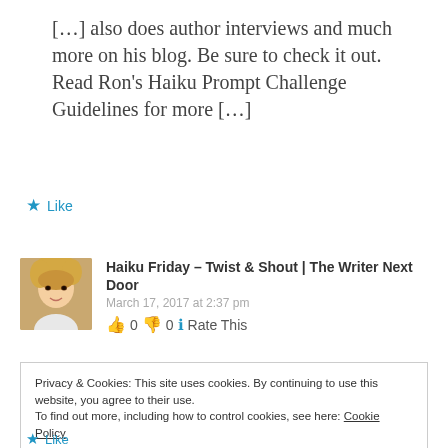[…] also does author interviews and much more on his blog. Be sure to check it out. Read Ron's Haiku Prompt Challenge Guidelines for more […]
★ Like
Haiku Friday – Twist & Shout | The Writer Next Door
March 17, 2017 at 2:37 pm
👍 0 👎 0 ℹ Rate This
Privacy & Cookies: This site uses cookies. By continuing to use this website, you agree to their use.
To find out more, including how to control cookies, see here: Cookie Policy
Close and accept
★ Like